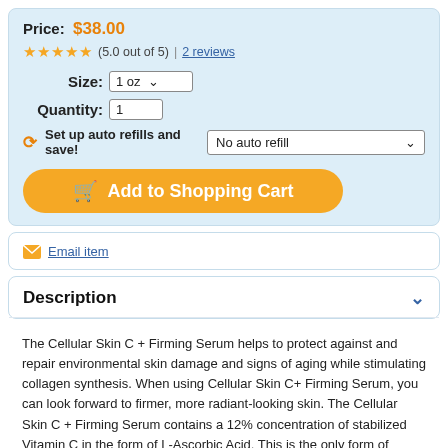Price: $38.00
(5.0 out of 5) | 2 reviews
Size: 1 oz
Quantity: 1
Set up auto refills and save! No auto refill
Add to Shopping Cart
Email item
Description
The Cellular Skin C + Firming Serum helps to protect against and repair environmental skin damage and signs of aging while stimulating collagen synthesis. When using Cellular Skin C+ Firming Serum, you can look forward to firmer, more radiant-looking skin. The Cellular Skin C + Firming Serum contains a 12% concentration of stabilized Vitamin C in the form of L-Ascorbic Acid. This is the only form of Vitamin C that is easily absorbed by the skin. Other forms of Vitamin C, such as C-esters and magnesium ascorbates must first be metabolized by the skin before being able to be absorbed. (Read